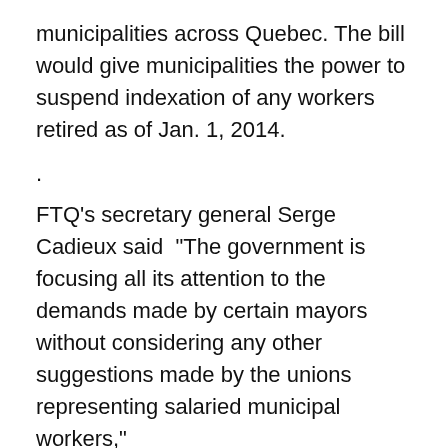municipalities across Quebec. The bill would give municipalities the power to suspend indexation of any workers retired as of Jan. 1, 2014.
.
FTQ's secretary general Serge Cadieux said “The government is focusing all its attention to the demands made by certain mayors without considering any other suggestions made by the unions representing salaried municipal workers,”
.
The Montreal Police Brotherhood said that police officers will have to double their pension contributions. “There will be no police officer who will want to come to work in Montreal,” said the brotherhood’s president Yves